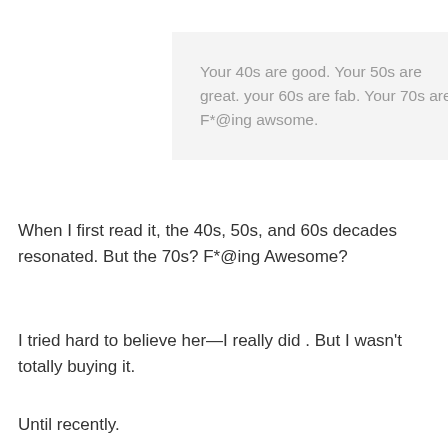Your 40s are good. Your 50s are great. your 60s are fab. Your 70s are F*@ing awsome.
When I first read it, the 40s, 50s, and 60s decades resonated. But the 70s? F*@ing Awesome?
I tried hard to believe her—I really did . But I wasn't totally buying it.
Until recently.